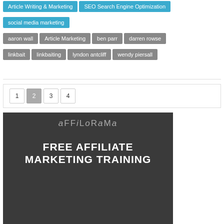Article Writing & Marketing
SEO Search Engine Optimization
social media marketing
aaron wall
Article Marketing
ben parr
darren rowse
linkbait
linkbaiting
lyndon antcliff
wendy piersall
1  2  3  4
[Figure (illustration): Affilorama banner with logo text and 'FREE AFFILIATE MARKETING TRAINING' on dark background]